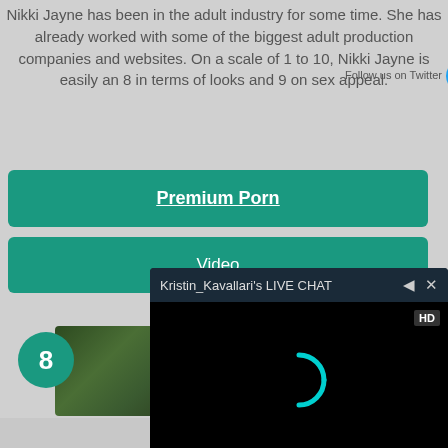Nikki Jayne has been in the adult industry for some time. She has already worked with some of the biggest adult production companies and websites. On a scale of 1 to 10, Nikki Jayne is easily an 8 in terms of looks and 9 on sex appeal.
Premium Porn
Video
Kristin_Kavallari's LIVE CHAT
8
[Figure (screenshot): Live chat video player overlay showing loading spinner on black background with HD badge, header bar showing Kristin_Kavallari's LIVE CHAT with mute and close icons]
[Figure (photo): Thumbnail image of outdoor greenery/plants with a green circle badge showing the number 8]